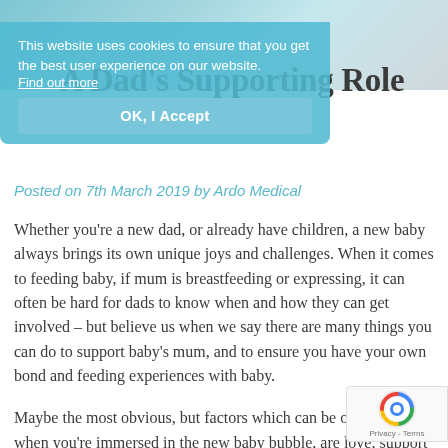[Figure (photo): Blue background banner photo at top of page, showing soft fabric or blanket in teal/blue tones]
This website uses cookies to ensure that you get the best user experience on our website. Find out more
OK, I Accept
A Dad's Supporting Role
Posted on 7th March 2019 by Ardo Medical
Whether you're a new dad, or already have children, a new baby always brings its own unique joys and challenges. When it comes to feeding baby, if mum is breastfeeding or expressing, it can often be hard for dads to know when and how they can get involved – but believe us when we say there are many things you can do to support baby's mum, and to ensure you have your own bond and feeding experiences with baby.
Maybe the most obvious, but factors which can be overlooked when you're immersed in the new baby bubble, are love, support and encouragement. All breastfeeding and expressing mums – but especially